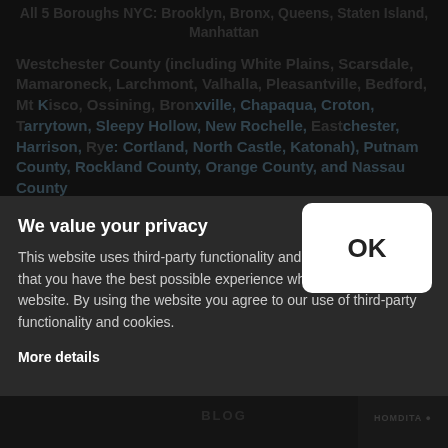All 5 Boroughs NYC: Brooklyn, Bronx, Queens, Staten Island, Manhattan
Westchester County (including White Plains, Scarsdale, Mamaroneck, Larchmont, Valhalla, Pleasantville, Bedford, Mt Kisco, Ossining, Bronxville, Chapaqua, Croton, Tarrytown, Sleepy Hollow, New Rochelle, Eastchester, Harrison, Rye, Purchase, Cortland, North Castle, Katonah), Putnam County, Rockland County, Orange County, and Nassau County
We value your privacy
This website uses third-party functionality and cookies to ensure that you have the best possible experience when visiting the website. By using the website you agree to our use of third-party functionality and cookies.
More details
HOME  WHY US  OUR TEAM  PRACTICE AREAS  TESTIMONIALS  BLOG